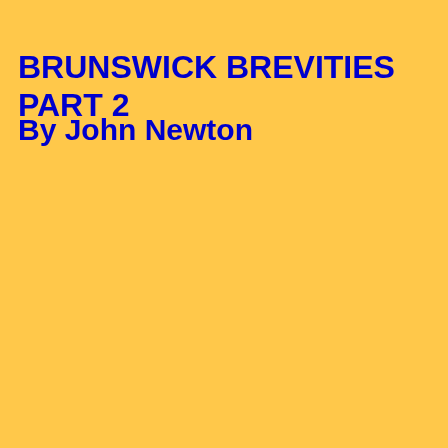BRUNSWICK BREVITIES PART 2
By John Newton